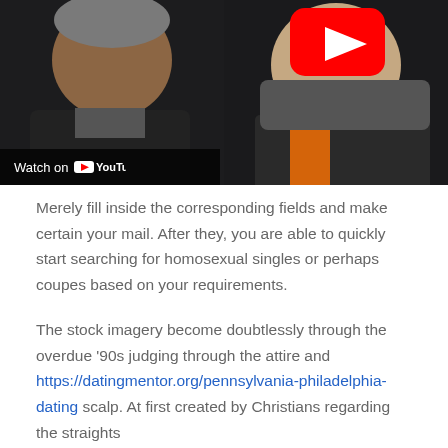[Figure (screenshot): YouTube video thumbnail showing two young men in dark jackets sitting together. A red YouTube play button icon appears in the upper right area. A 'Watch on YouTube' bar appears at the bottom left of the thumbnail.]
Merely fill inside the corresponding fields and make certain your mail. After they, you are able to quickly start searching for homosexual singles or perhaps coupes based on your requirements.
The stock imagery become doubtlessly through the overdue '90s judging through the attire and https://datingmentor.org/pennsylvania-philadelphia-dating scalp. At first created by Christians regarding the straights